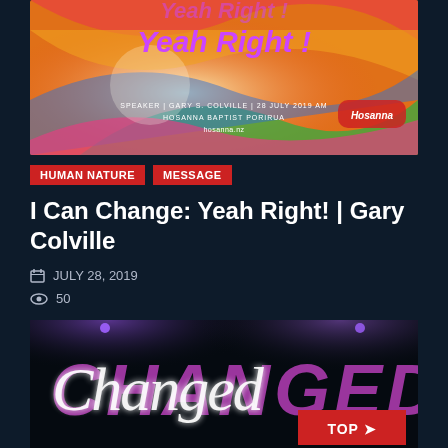[Figure (photo): Colorful promotional graphic with rainbow swirl background. Text reads 'Yeah Right!' in purple. Speaker info: Gary S. Colville, 28 July 2019 AM, Hosanna Baptist Porirua, hosanna.nz. Hosanna logo bottom right.]
HUMAN NATURE   MESSAGE
I Can Change: Yeah Right! | Gary Colville
JULY 28, 2019
50
[Figure (photo): Dark stage photo with neon-style text 'Changed' — white script neon overlay on purple block letters, with stage lighting in background.]